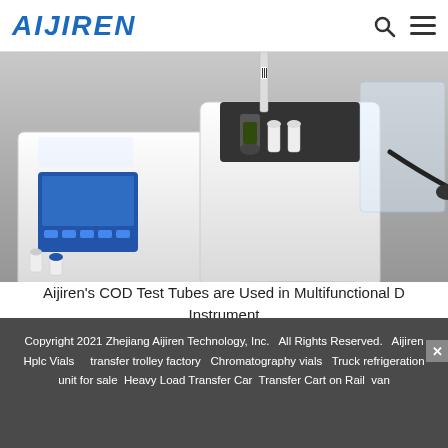AIJIREN
[Figure (photo): Laboratory instrument photo: A COD (Chemical Oxygen Demand) digestion/testing instrument shown on a metal lab bench. The white boxy device has a blue LCD control panel with buttons. On top are small white vials and dark sample tubes inserted into a black heating block. A clear plastic container is visible on the right side with a cable connection. Several white cap vials are shown on the left.]
Aijiren's COD Test Tubes are Used in Multifunctional D Instrument
Copyright 2021 Zhejiang Aijiren Technology, Inc.   All Rights Reserved.   Aijiren Hplc Vials     transfer trolley factory   Chromatography vials   Truck refrigeration unit for sale  Heavy Load Transfer Car  Transfer Cart on Rail  van